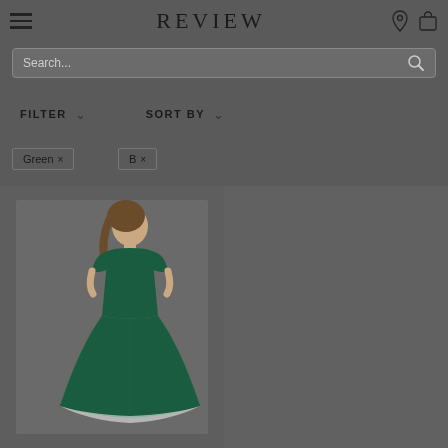REVIEW
Search...
FILTER
SORT BY
Green ×
B×
[Figure (photo): Woman wearing a dark green lace fit-and-flare dress with short sleeves, shown from the waist up on a grey background]